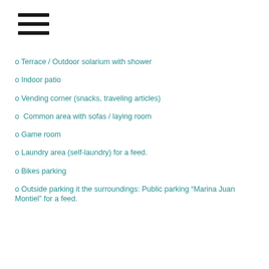[Figure (other): Hamburger menu icon with three horizontal black lines]
o Terrace / Outdoor solarium with shower
o Indoor patio
o Vending corner (snacks, traveling articles)
o  Common area with sofas / laying room
o Game room
o Laundry area (self-laundry) for a feed.
o Bikes parking
o Outside parking it the surroundings: Public parking “Marina Juan Montiel” for a feed.